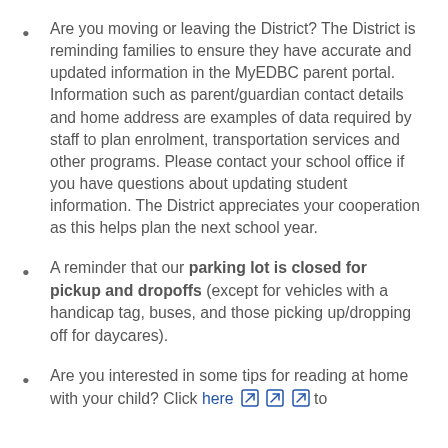Are you moving or leaving the District? The District is reminding families to ensure they have accurate and updated information in the MyEDBC parent portal. Information such as parent/guardian contact details and home address are examples of data required by staff to plan enrolment, transportation services and other programs. Please contact your school office if you have questions about updating student information. The District appreciates your cooperation as this helps plan the next school year.
A reminder that our parking lot is closed for pickup and dropoffs (except for vehicles with a handicap tag, buses, and those picking up/dropping off for daycares).
Are you interested in some tips for reading at home with your child? Click here [link icons] to